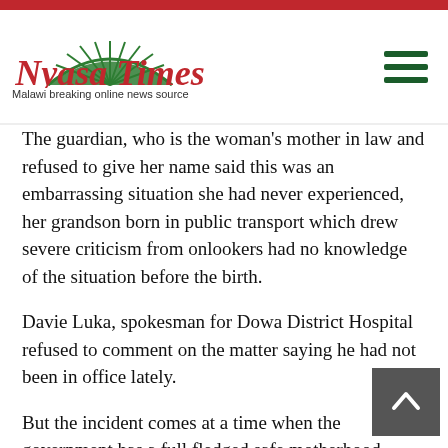Nyasa Times — Malawi breaking online news source
The guardian, who is the woman's mother in law and refused to give her name said this was an embarrassing situation she had never experienced, her grandson born in public transport which drew severe criticism from onlookers had no knowledge of the situation before the birth.
Davie Luka, spokesman for Dowa District Hospital refused to comment on the matter saying he had not been in office lately.
But the incident comes at a time when the government has a full fledged safe motherhood headed by former First Lady Callista Mutharika to ensure that women give birth in hospitals to battle birth related deaths.
The women says the minibus owner has since slapped her